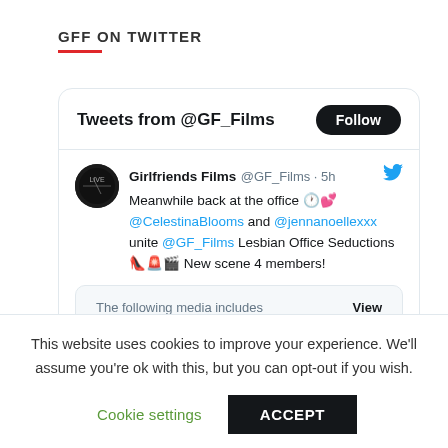GFF ON TWITTER
[Figure (screenshot): Twitter widget showing tweets from @GF_Films with a Follow button. Contains a tweet from Girlfriends Films (@GF_Films · 5h): 'Meanwhile back at the office 🕐💕 @CelestinaBlooms and @jennanoellexxx unite @GF_Films Lesbian Office Seductions 👠🚨🎬 New scene 4 members!' with a media warning box showing 'The following media includes' and a 'View' button.]
This website uses cookies to improve your experience. We'll assume you're ok with this, but you can opt-out if you wish.
Cookie settings   ACCEPT